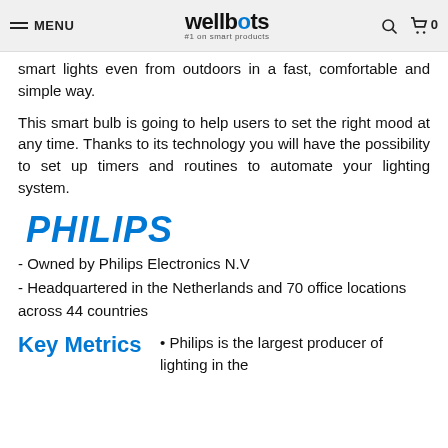MENU | wellbots #1 on smart products | 🔍 | 🛒 0
smart lights even from outdoors in a fast, comfortable and simple way.
This smart bulb is going to help users to set the right mood at any time. Thanks to its technology you will have the possibility to set up timers and routines to automate your lighting system.
[Figure (logo): PHILIPS logo in bold blue italic text]
- Owned by Philips Electronics N.V
- Headquartered in the Netherlands and 70 office locations across 44 countries
Key Metrics
• Philips is the largest producer of lighting in the